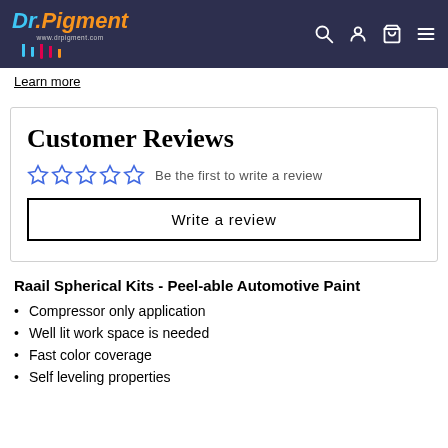Dr.Pigment [logo] — navigation header with search, account, cart, menu icons
Learn more
Customer Reviews
☆☆☆☆☆ Be the first to write a review
Write a review
Raail Spherical Kits - Peel-able Automotive Paint
Compressor only application
Well lit work space is needed
Fast color coverage
Self leveling properties